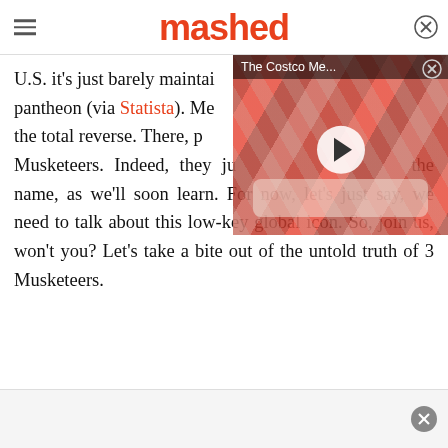mashed
U.S. it's just barely maintaining its place in the global candy bar pantheon (via Statista). Meanwhile, in the UK it's almost the total reverse. There, people just aren't familiar with 3 Musketeers. Indeed, they just aren't familiar with the name, as we'll soon learn. For now, let's just say, we need to talk about this low-key global icon. So, join us, won't you? Let's take a bite out of the untold truth of 3 Musketeers.
[Figure (screenshot): Video overlay showing 'The Costco Me...' with a play button over a background image of packaged red meat]
What's actually inside a 3 Musketeers